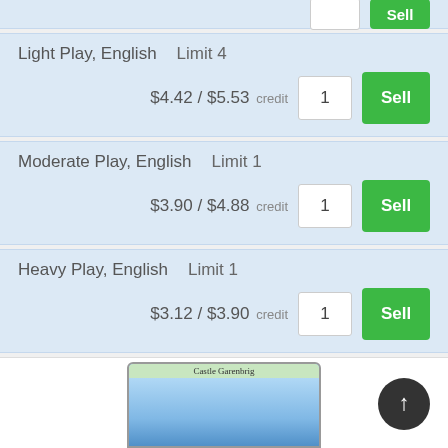Light Play, English   Limit 4   $4.42 / $5.53 credit   1   Sell
Moderate Play, English   Limit 1   $3.90 / $4.88 credit   1   Sell
Heavy Play, English   Limit 1   $3.12 / $3.90 credit   1   Sell
Damaged, English   Limit 1   $2.08 / $2.60 credit   1   Sell
[Figure (photo): Partial card image of Castle Garenbrig with blue sky background]